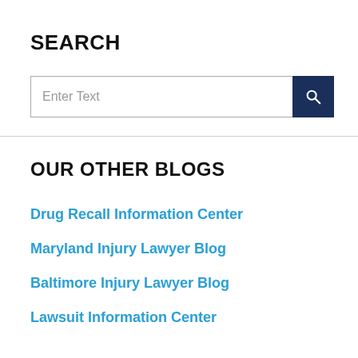SEARCH
[Figure (other): Search input box with placeholder 'Enter Text' and a dark navy blue search button with magnifying glass icon]
OUR OTHER BLOGS
Drug Recall Information Center
Maryland Injury Lawyer Blog
Baltimore Injury Lawyer Blog
Lawsuit Information Center